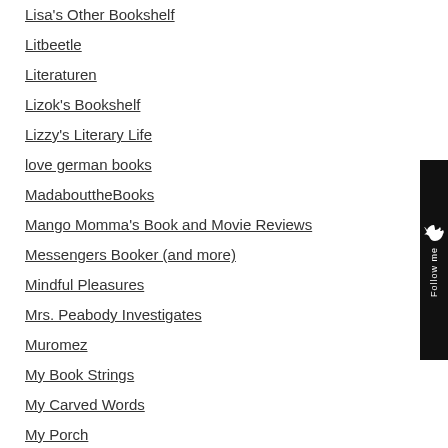Lisa's Other Bookshelf
Litbeetle
Literaturen
Lizok's Bookshelf
Lizzy's Literary Life
love german books
MadabouttheBooks
Mango Momma's Book and Movie Reviews
Messengers Booker (and more)
Mindful Pleasures
Mrs. Peabody Investigates
Muromez
My Book Strings
My Carved Words
My Porch
My Reading Antlers
Nina Sankovitch
Nonsuch Book
Ourmaninboston
[Figure (other): Follow me sidebar button with bird icon, black background, vertical text 'Follow me']